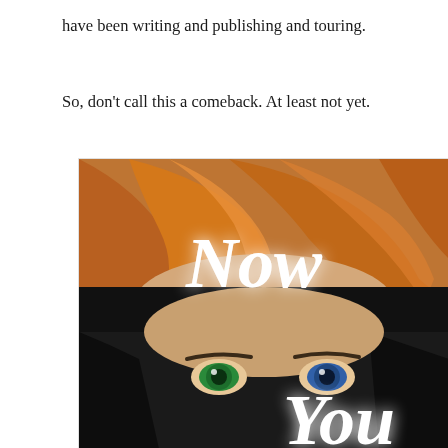have been writing and publishing and touring.
So, don't call this a comeback. At least not yet.
[Figure (illustration): Book cover showing a close-up of a woman's face with auburn/red hair on top and dark hair on the bottom half, with heterochromatic eyes (one green, one blue). White stylized text reads 'Now You' overlaid on the face.]